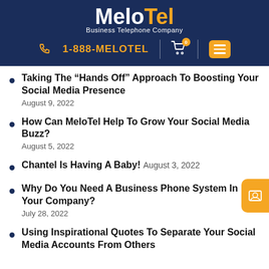MeloTel Business Telephone Company | 1-888-MELOTEL
Taking The “Hands Off” Approach To Boosting Your Social Media Presence
How Can MeloTel Help To Grow Your Social Media Buzz?
Chantel Is Having A Baby!
Why Do You Need A Business Phone System In Your Company?
Using Inspirational Quotes To Separate Your Social Media Accounts From Others